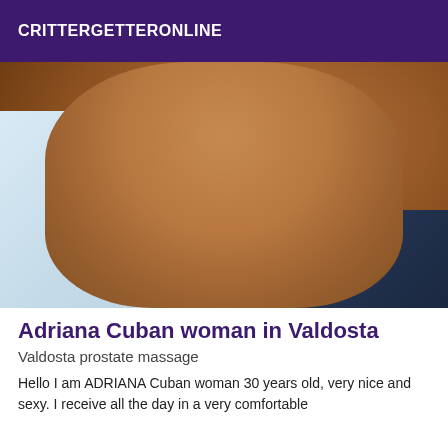CRITTERGETTERONLINE
[Figure (photo): Close-up photo of a person lying on a light blue/white sheet with dark blue fabric visible, showing skin tones in warm brown.]
Adriana Cuban woman in Valdosta
Valdosta prostate massage
Hello I am ADRIANA Cuban woman 30 years old, very nice and sexy. I receive all the day in a very comfortable